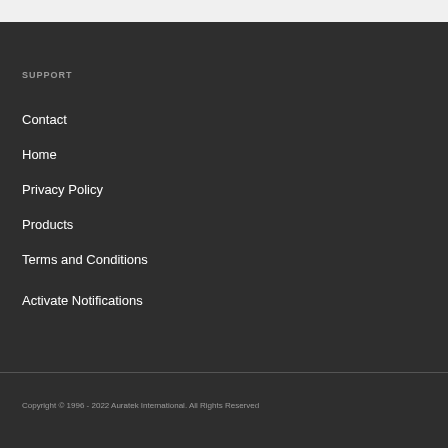SUPPORT
Contact
Home
Privacy Policy
Products
Terms and Conditions
Activate Notifications
Copyright © 1996 - 2022 Auratek International. All Rights Reserved